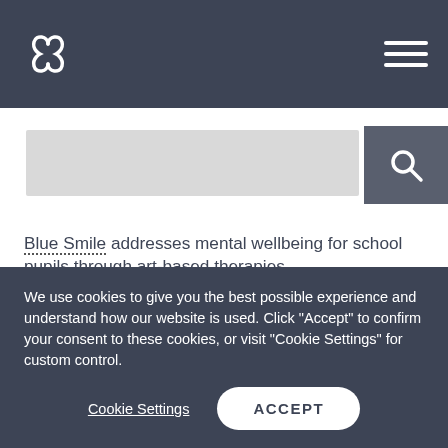Navigation bar with logo and hamburger menu
[Figure (screenshot): Website navigation bar with CDP logo on left and hamburger menu on right, on dark blue-grey background, with search bar below]
Blue Smile addresses mental wellbeing for school pupils through art-based therapies.
“It was a wonderful surprise to be contacted by CDP and learn that we had been nominated for a donation. This kind of giving means the world to us – and is so important in helping to make a difference to local children, especially as
We use cookies to give you the best possible experience and understand how our website is used. Click “Accept” to confirm your consent to these cookies, or visit "Cookie Settings" for custom control.
Cookie Settings
ACCEPT